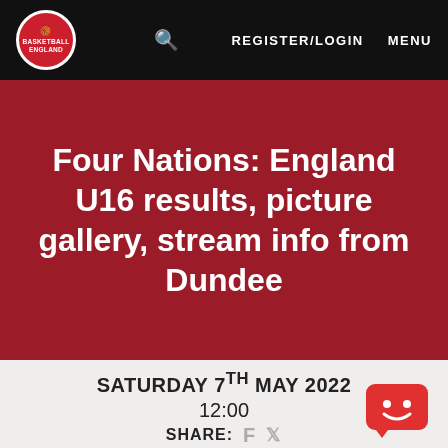Basketball England | REGISTER/LOGIN | MENU
Four Nations: England U16 results, picture gallery, stream info from Dundee
SATURDAY 7TH MAY 2022
12:00
SHARE:
[Figure (logo): Chat bot / feedback icon, red rounded square with white smiley face]